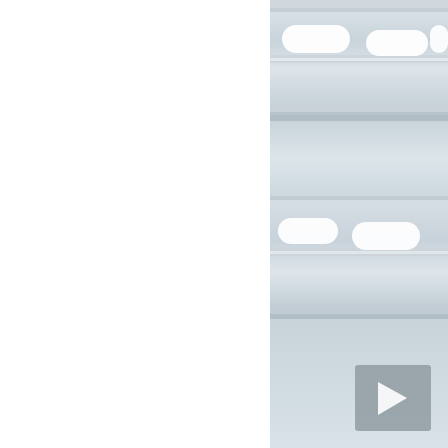[Figure (photo): Close-up photograph of two perforated galvanized steel DIN rails (mounting rails) with oval/slotted holes, viewed at a diagonal angle. The rails are metallic silver/zinc-coated and show the typical hat-rail or top-hat profile used in electrical enclosures. A small gray square watermark icon with a white triangle/play arrow is visible in the lower-right area of the image. The left portion of the image is white/blank.]